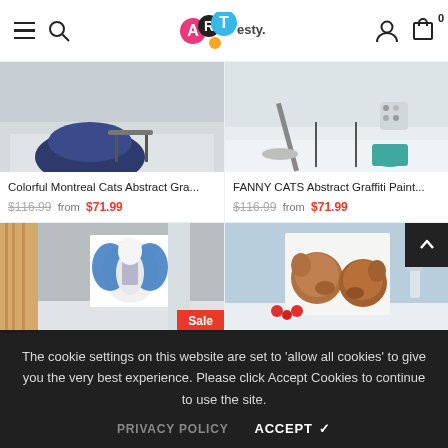ARTesty — navigation header with hamburger, search, logo, user icon, cart
[Figure (screenshot): Product card image 1: Colorful Montreal Cats Abstract — room scene with dark blue bean bag chair]
Colorful Montreal Cats Abstract Gra...
$116.99  from  $71.99
[Figure (screenshot): Product card image 2: FANNY CATS Abstract Graffiti Paint — room scene with teal pot and mop]
FANNY CATS Abstract Graffiti Paint...
$116.99  from  $71.99
[Figure (screenshot): Product card image 3 (Sale): Room with abstract blue butterfly figure painting on grey wall]
Sale
[Figure (screenshot): Product card image 4: Room with light blue wall showing painting of two dogs/bears nuzzling]
The cookie settings on this website are set to 'allow all cookies' to give you the very best experience. Please click Accept Cookies to continue to use the site.
PRIVACY POLICY    ACCEPT ✓